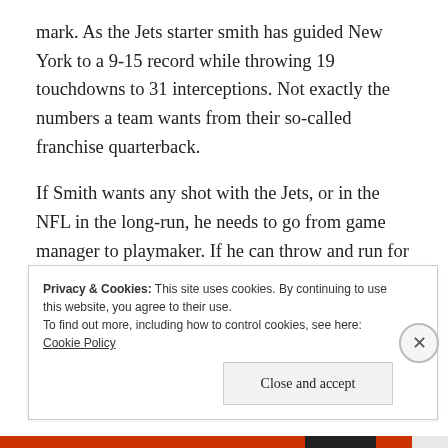mark. As the Jets starter smith has guided New York to a 9-15 record while throwing 19 touchdowns to 31 interceptions. Not exactly the numbers a team wants from their so-called franchise quarterback.
If Smith wants any shot with the Jets, or in the NFL in the long-run, he needs to go from game manager to playmaker. If he can throw and run for touchdowns while eliminating the costly mistakes that he has become well-known for, he might have a shot in the NFL.
Privacy & Cookies: This site uses cookies. By continuing to use this website, you agree to their use.
To find out more, including how to control cookies, see here: Cookie Policy
Close and accept